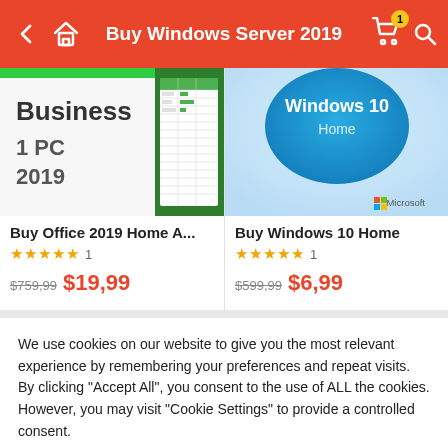Buy Windows Server 2019
[Figure (screenshot): Office 2019 Home product box image showing 'Business 1 PC 2019' text with spreadsheet graphic]
Buy Office 2019 Home A...
★★★★★ 1
$759,99  $19,99
[Figure (screenshot): Windows 10 Home product box image showing circular blue logo with 'Windows 10 Home' and Microsoft branding]
Buy Windows 10 Home
★★★★★ 1
$599,99  $6,99
We use cookies on our website to give you the most relevant experience by remembering your preferences and repeat visits. By clicking "Accept All", you consent to the use of ALL the cookies. However, you may visit "Cookie Settings" to provide a controlled consent.
Cookie Settings
Accept All